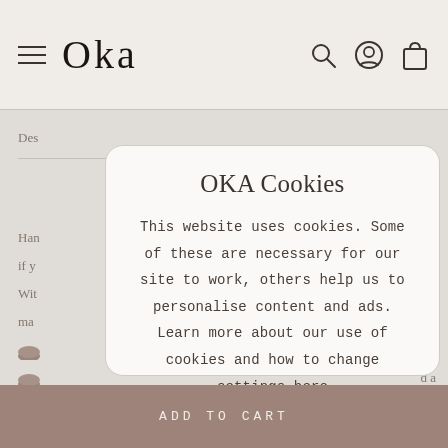[Figure (screenshot): OKA website header with hamburger menu, OKA logo, search icon, account icon, and shopping bag icon on a beige background]
OKA Cookies
This website uses cookies. Some of these are necessary for our site to work, others help us to personalise content and ads. Learn more about our use of cookies and how to change settings here
ACCEPT
ADD TO CART